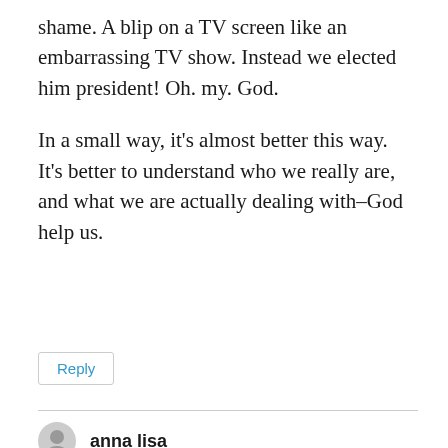shame. A blip on a TV screen like an embarrassing TV show. Instead we elected him president! Oh. my. God.
In a small way, it's almost better this way. It's better to understand who we really are, and what we are actually dealing with–God help us.
Reply
anna lisa
April 19, 2018 at 2:44 am
I forgot to mention that when I asked my